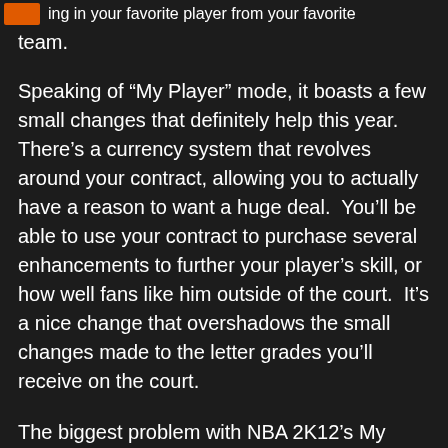ing in your favorite player from your favorite team.
Speaking of “My Player” mode, it boasts a few small changes that definitely help this year.  There’s a currency system that revolves around your contract, allowing you to actually have a reason to want a huge deal.  You’ll be able to use your contract to purchase several enhancements to further your player’s skill, or how well fans like him outside of the court.  It’s a nice change that overshadows the small changes made to the letter grades you’ll receive on the court.
The biggest problem with NBA 2K12’s My Player mode is still what has haunted it in previous years: it’s no fun to play a power forward or center.  If you’re a guard or someone who can demand the ball rather